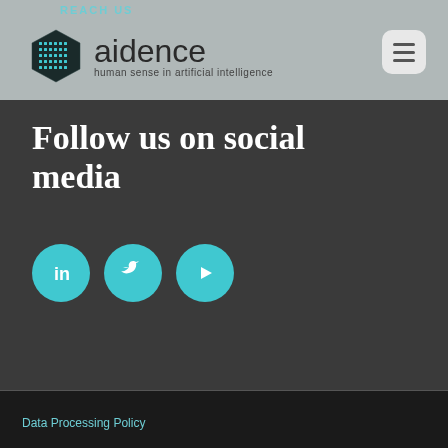REACH US
[Figure (logo): Aidence logo with grid icon and text 'aidence - human sense in artificial intelligence']
Follow us on social media
[Figure (infographic): Three circular cyan social media buttons: LinkedIn, Twitter, YouTube]
Data Processing Policy